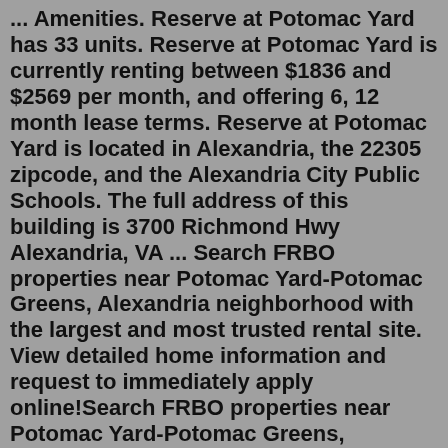... Amenities. Reserve at Potomac Yard has 33 units. Reserve at Potomac Yard is currently renting between $1836 and $2569 per month, and offering 6, 12 month lease terms. Reserve at Potomac Yard is located in Alexandria, the 22305 zipcode, and the Alexandria City Public Schools. The full address of this building is 3700 Richmond Hwy Alexandria, VA ... Search FRBO properties near Potomac Yard-Potomac Greens, Alexandria neighborhood with the largest and most trusted rental site. View detailed home information and request to immediately apply online!Search FRBO properties near Potomac Yard-Potomac Greens, Alexandria neighborhood with the largest and most trusted rental site. View detailed home information and request to immediately apply online! Avalon Potomac Yard. 731 Seaton Ave, Alexandria, VA, 22305. Studio–2 Beds • 1–2 Baths. 10+ Units Available Details ... Washington, DC, DC Apartments for rent; Search 3 Townhomes For Rent in Potomac Yard-Potomac Greens, Alexandria, Virginia. Explore rentals by neighborhoods, schools,